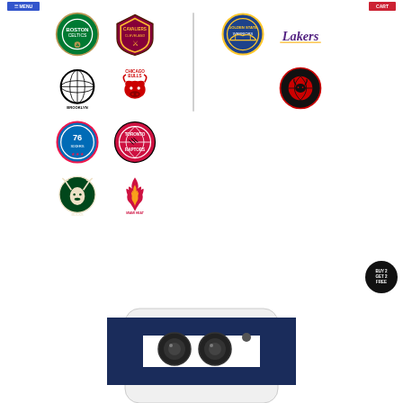[Figure (other): Blue navigation button (left header)]
[Figure (other): Red navigation button (right header)]
[Figure (other): NBA team logos grid: Boston Celtics, Cleveland Cavaliers, Golden State Warriors, LA Lakers, Brooklyn Nets, Chicago Bulls, Chicago Bulls alternate, Philadelphia 76ers, Toronto Raptors, Milwaukee Bucks, Miami Heat]
[Figure (other): BUY 2 GET 2 FREE badge]
[Figure (photo): Partial photo of a phone case at the bottom of the page]